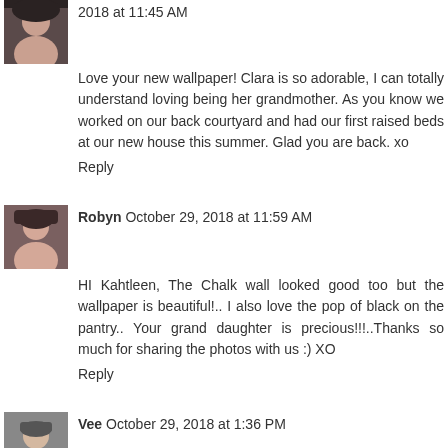2018 at 11:45 AM
Love your new wallpaper! Clara is so adorable, I can totally understand loving being her grandmother. As you know we worked on our back courtyard and had our first raised beds at our new house this summer. Glad you are back. xo
Reply
Robyn October 29, 2018 at 11:59 AM
HI Kahtleen, The Chalk wall looked good too but the wallpaper is beautiful!.. I also love the pop of black on the pantry.. Your grand daughter is precious!!!..Thanks so much for sharing the photos with us :) XO
Reply
Vee October 29, 2018 at 1:36 PM
Oh I liked the dark wall and I love the papered wall. I didn't know that Joanna Gaines had a wallpaper line. This is giving me ideas. Clara is such a cutie pie Your readers will